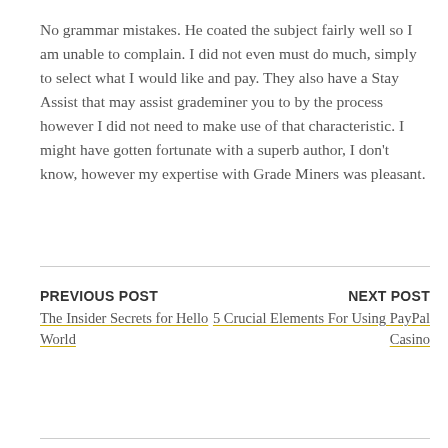No grammar mistakes. He coated the subject fairly well so I am unable to complain. I did not even must do much, simply to select what I would like and pay. They also have a Stay Assist that may assist grademiner you to by the process however I did not need to make use of that characteristic. I might have gotten fortunate with a superb author, I don’t know, however my expertise with Grade Miners was pleasant.
PREVIOUS POST
The Insider Secrets for Hello World
NEXT POST
5 Crucial Elements For Using PayPal Casino